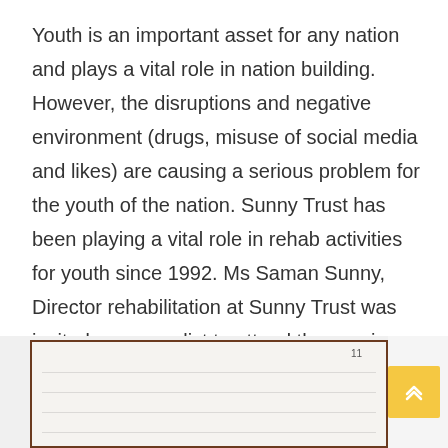Youth is an important asset for any nation and plays a vital role in nation building. However, the disruptions and negative environment (drugs, misuse of social media and likes) are causing a serious problem for the youth of the nation. Sunny Trust has been playing a vital role in rehab activities for youth since 1992. Ms Saman Sunny, Director rehabilitation at Sunny Trust was invited as a panelist to attend the session and have a talk with the youngsters at Ripha University on November 3, 2021.
[Figure (photo): Partial view of a whiteboard/presentation board at what appears to be a university session, and a partial view of another photo area. A gold/yellow button with upward chevron arrows is visible on the right side.]